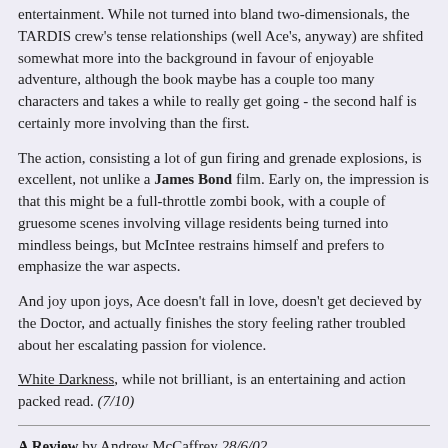entertainment. While not turned into bland two-dimensionals, the TARDIS crew's tense relationships (well Ace's, anyway) are shfited somewhat more into the background in favour of enjoyable adventure, although the book maybe has a couple too many characters and takes a while to really get going - the second half is certainly more involving than the first.
The action, consisting a lot of gun firing and grenade explosions, is excellent, not unlike a James Bond film. Early on, the impression is that this might be a full-throttle zombi book, with a couple of gruesome scenes involving village residents being turned into mindless beings, but McIntee restrains himself and prefers to emphasize the war aspects.
And joy upon joys, Ace doesn't fall in love, doesn't get decieved by the Doctor, and actually finishes the story feeling rather troubled about her escalating passion for violence.
White Darkness, while not brilliant, is an entertaining and action packed read. (7/10)
A Review by Andrew McCaffrey 28/6/02
I found White Darkness to be an unambitious but fun adventure that makes great use of its historical setting. The atmosphere of